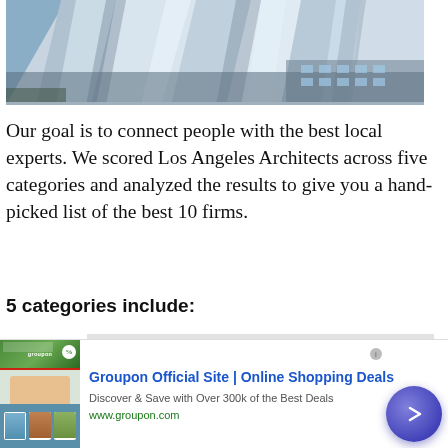[Figure (photo): Photo of the Walt Disney Concert Hall in Los Angeles — metallic stainless steel panels forming angular curved shapes against a blue sky]
Our goal is to connect people with the best local experts. We scored Los Angeles Architects across five categories and analyzed the results to give you a hand-picked list of the best 10 firms.
5 categories include:
[Figure (screenshot): Groupon advertisement banner: 'Groupon Official Site | Online Shopping Deals — Discover & Save with Over 300k of the Best Deals — www.groupon.com' with product images and a purple arrow button]